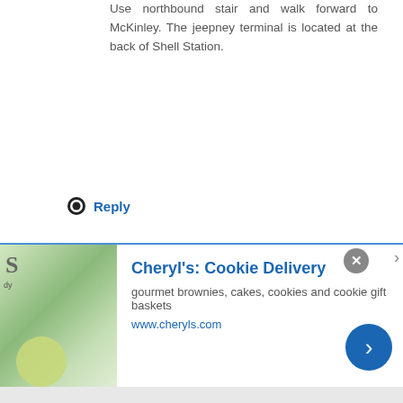Use northbound stair and walk forward to McKinley. The jeepney terminal is located at the back of Shell Station.
Reply
27.
Unknown  24 November 2015 at 20:06
This comment has been removed by the author.
Reply
28.
[Figure (infographic): Advertisement banner for Cheryl's Cookie Delivery with image of cookies/food, title, description, URL, close button, and arrow button.]